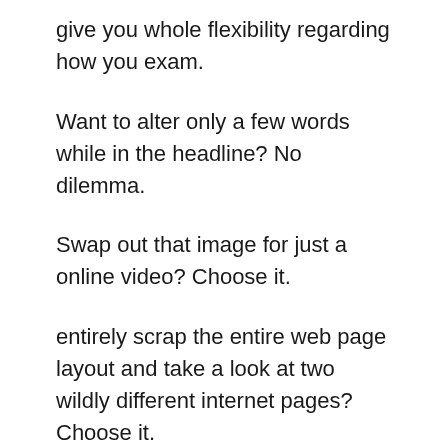give you whole flexibility regarding how you exam.
Want to alter only a few words while in the headline? No dilemma.
Swap out that image for just a online video? Choose it.
entirely scrap the entire web page layout and take a look at two wildly different internet pages? Choose it.
that is a breath of new air in comparison to Another site builders that only permit you to split examination just one module at a time. Ain't no person received time for that!